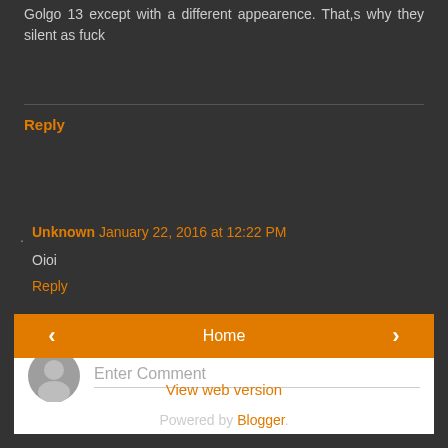Golgo 13 except with a different appearence. That,s why they silent as fuck
Reply
Unknown January 22, 2016 at 12:22 PM
Oioi
Reply
[Figure (other): Comment input box with avatar icon and Enter Comment placeholder]
< (previous navigation button)
Home
> (next navigation button)
View web version
Powered by Blogger.